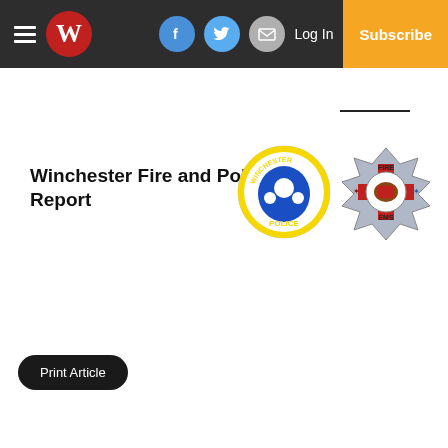Winchester Fire and Police Report — newspaper website header with navigation icons, Log In, and Subscribe button
Winchester Fire and Police Report
[Figure (logo): Winchester Police badge (circular, yellow and blue) and Winchester Fire EMS badge (Maltese cross, grey and red)]
Print Article